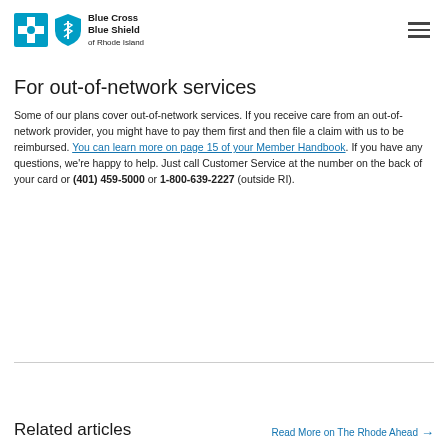Blue Cross Blue Shield of Rhode Island
For out-of-network services
Some of our plans cover out-of-network services. If you receive care from an out-of-network provider, you might have to pay them first and then file a claim with us to be reimbursed. You can learn more on page 15 of your Member Handbook. If you have any questions, we’re happy to help. Just call Customer Service at the number on the back of your card or (401) 459-5000 or 1-800-639-2227 (outside RI).
Related articles
Read More on The Rhode Ahead →